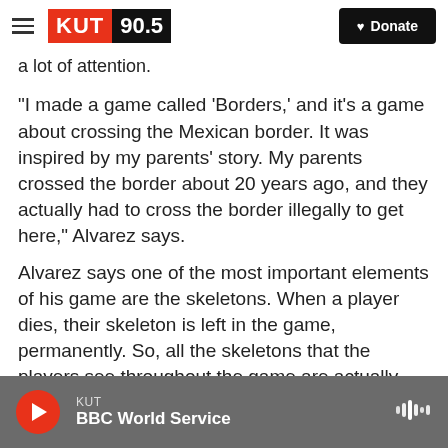KUT 90.5 — Donate
a lot of attention.
"I made a game called 'Borders,' and it's a game about crossing the Mexican border. It was inspired by my parents' story. My parents crossed the border about 20 years ago, and they actually had to cross the border illegally to get here," Alvarez says.
Alvarez says one of the most important elements of his game are the skeletons. When a player dies, their skeleton is left in the game, permanently. So, all the skeletons that the players see throughout the game are actually past players who have died.
KUT — BBC World Service